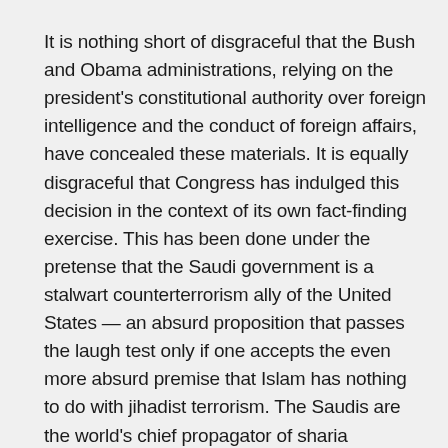It is nothing short of disgraceful that the Bush and Obama administrations, relying on the president's constitutional authority over foreign intelligence and the conduct of foreign affairs, have concealed these materials. It is equally disgraceful that Congress has indulged this decision in the context of its own fact-finding exercise. This has been done under the pretense that the Saudi government is a stalwart counterterrorism ally of the United States — an absurd proposition that passes the laugh test only if one accepts the even more absurd premise that Islam has nothing to do with jihadist terrorism. The Saudis are the world's chief propagator of sharia supremacism, sharia being the law of the Sunni kingdom.